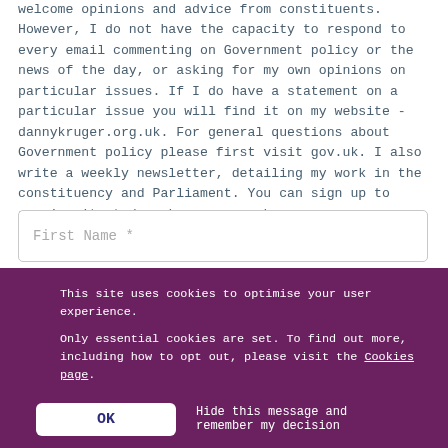welcome opinions and advice from constituents. However, I do not have the capacity to respond to every email commenting on Government policy or the news of the day, or asking for my own opinions on particular issues. If I do have a statement on a particular issue you will find it on my website - dannykruger.org.uk. For general questions about Government policy please first visit gov.uk. I also write a weekly newsletter, detailing my work in the constituency and Parliament. You can sign up to receive it at dannykruger.org.uk.
First Name *
This site uses cookies to optimise your user experience.
Only essential cookies are set. To find out more, including how to opt out, please visit the Cookies page.
OK   Hide this message and remember my decision